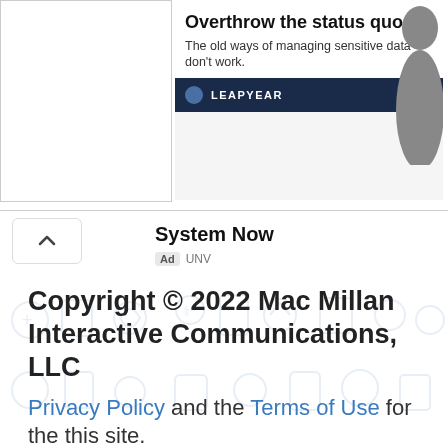[Figure (screenshot): Advertisement banner showing 'Overthrow the status quo. The old ways of managing sensitive data don't work.' with LEAPYEAR branding and a person silhouette, alongside a white box on the left.]
System Now
Ad UNV
Copyright © 2022 Mac Millan Interactive Communications, LLC
Privacy Policy and the Terms of Use for the this site. www.medicalhealthtests.com does not provide medical advice, diagnosis or treatment.
Sitemap